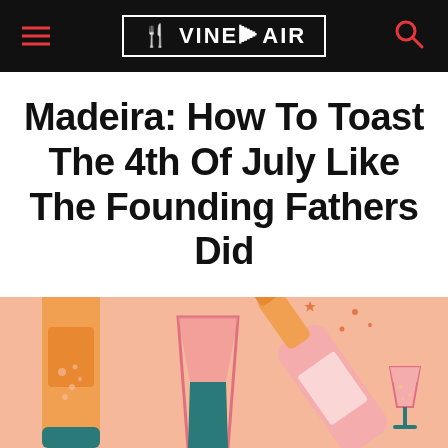VINEPAIR
Madeira: How To Toast The 4th Of July Like The Founding Fathers Did
[Figure (illustration): Flat vector illustration on peach/salmon background showing alcoholic drink bottles and glasses: an orange beer bottle on the left with bubbles, a half-filled pink/teal drinking glass in the center, and a pink champagne bottle being uncorked diagonally on the right with sparkle effects, plus a teal/pink wine glass at the bottom right.]